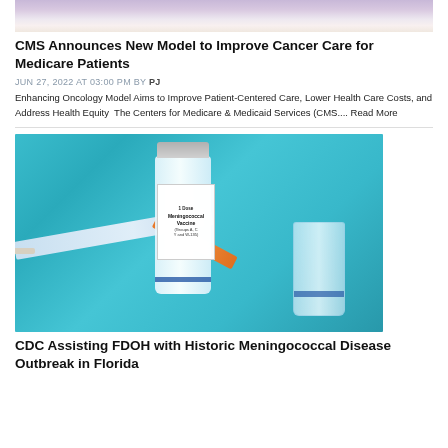[Figure (photo): Top portion of a photo showing a person in medical/lab coat with dark nail polish, likely holding something medical]
CMS Announces New Model to Improve Cancer Care for Medicare Patients
JUN 27, 2022 AT 03:00 PM BY PJ
Enhancing Oncology Model Aims to Improve Patient-Centered Care, Lower Health Care Costs, and Address Health Equity  The Centers for Medicare & Medicaid Services (CMS.... Read More
[Figure (photo): Photo of meningococcal vaccine vials and a syringe with orange cap on a teal/blue background. Label reads: 1 Dose, Meningococcal Vaccine, Groups A, C, Y and W-135]
CDC Assisting FDOH with Historic Meningococcal Disease Outbreak in Florida